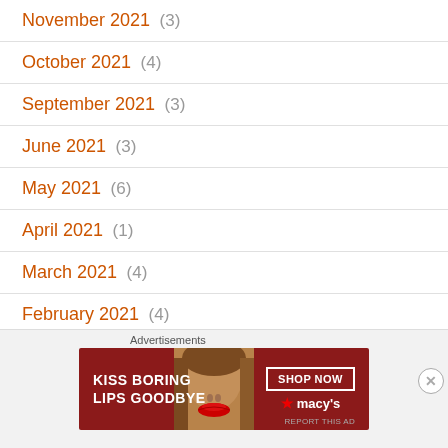November 2021 (3)
October 2021 (4)
September 2021 (3)
June 2021 (3)
May 2021 (6)
April 2021 (1)
March 2021 (4)
February 2021 (4)
January 2021 (7)
December 2020 (8)
[Figure (advertisement): Macy's advertisement with text 'KISS BORING LIPS GOODBYE' and 'SHOP NOW' button with Macy's logo, featuring a woman's face with red lips]